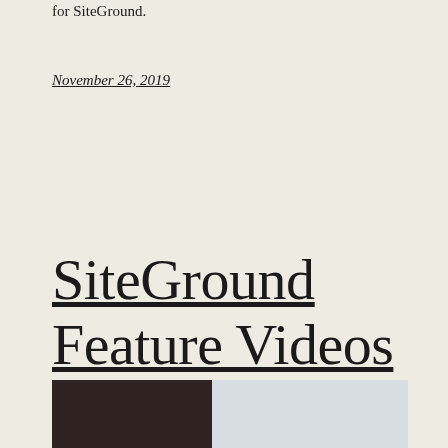for SiteGround.
November 26, 2019
SiteGround Feature Videos
[Figure (photo): Partial view of a thumbnail image strip at the bottom of the page, showing a dark brownish-black left portion and a light grey-blue right portion.]